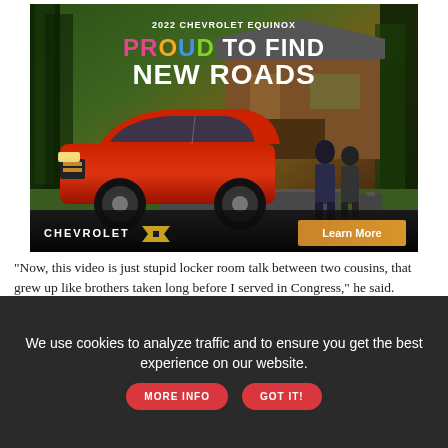[Figure (photo): Chevrolet Equinox 2022 advertisement. Red Chevrolet Equinox SUV parked in front of a rustic house surrounded by trees. Two people with luggage stand nearby. Text reads '2022 CHEVROLET EQUINOX', 'PROUD TO FIND NEW ROADS' with colorful letters. Chevrolet logo and 'Learn More' button at bottom.]
"Now, this video is just stupid locker room talk between two cousins, that grew up like brothers taken long before I served in Congress," he said.
We use cookies to analyze traffic and to ensure you get the best experience on our website.  MORE INFO  GOT IT!